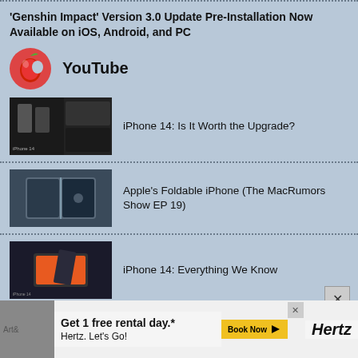'Genshin Impact' Version 3.0 Update Pre-Installation Now Available on iOS, Android, and PC
YouTube
iPhone 14: Is It Worth the Upgrade?
Apple's Foldable iPhone (The MacRumors Show EP 19)
iPhone 14: Everything We Know
New 10th Gen iPad & 2022 iPad Pro!
[Figure (screenshot): Hertz advertisement banner: Get 1 free rental day. Book Now. Hertz. Let's Go!]